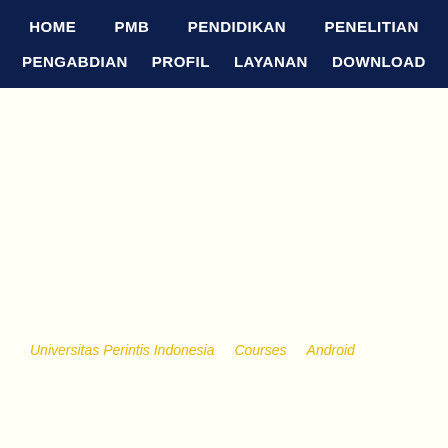HOME   PMB   PENDIDIKAN   PENELITIAN   PENGABDIAN   PROFIL   LAYANAN   DOWNLOAD
Universitas Perintis Indonesia   Courses   Android